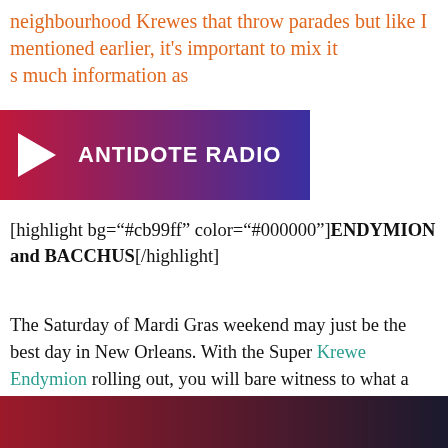neighbourhood Krewes that throw parades but like I mentioned earlier, it's important to mix it s much information as
[Figure (other): Antidote Radio play button banner with gradient background from red to dark blue]
[highlight bg="#cb99ff" color="#000000"]ENDYMION and BACCHUS[/highlight]
The Saturday of Mardi Gras weekend may just be the best day in New Orleans. With the Super Krewe Endymion rolling out, you will bare witness to what a parade is supposed to look like! The Krewe of Bacchus dominate the streets on Sunday and are known as the Krewe that revolutionized Mardi Gras parades by allowing tourists to join back in the 60s. As mentioned earlier, Krewe's are a major part of New Orleans